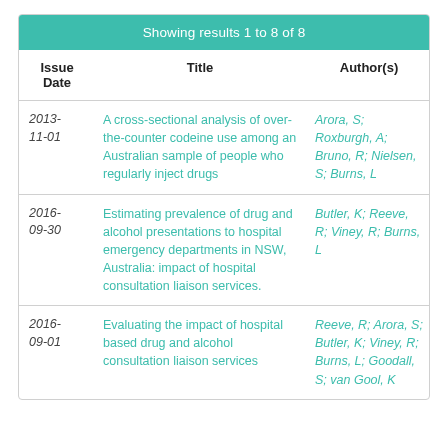| Issue Date | Title | Author(s) |
| --- | --- | --- |
| 2013-11-01 | A cross-sectional analysis of over-the-counter codeine use among an Australian sample of people who regularly inject drugs | Arora, S; Roxburgh, A; Bruno, R; Nielsen, S; Burns, L |
| 2016-09-30 | Estimating prevalence of drug and alcohol presentations to hospital emergency departments in NSW, Australia: impact of hospital consultation liaison services. | Butler, K; Reeve, R; Viney, R; Burns, L |
| 2016-09-01 | Evaluating the impact of hospital based drug and alcohol consultation liaison services | Reeve, R; Arora, S; Butler, K; Viney, R; Burns, L; Goodall, S; van Gool, K |